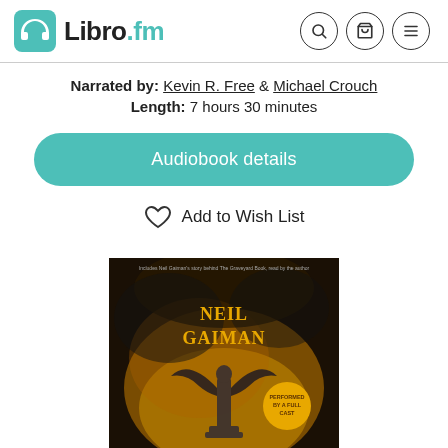Libro.fm
Narrated by: Kevin R. Free & Michael Crouch
Length: 7 hours 30 minutes
Audiobook details
Add to Wish List
[Figure (photo): Neil Gaiman audiobook cover — dark atmospheric image with golden/amber smoke, a winged statue silhouette, and gold text reading NEIL GAIMAN with a circular badge saying PERFORMED BY A FULL CAST]